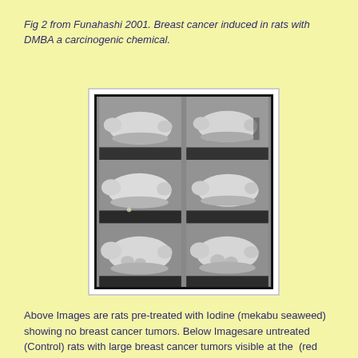Fig 2 from Funahashi 2001. Breast cancer induced in rats with DMBA a carcinogenic chemical.
[Figure (photo): A 2-column by 3-row grid of black-and-white photographic images showing rats. The top two images show rats pre-treated with iodine (mekabu seaweed) with no visible tumors. The middle two images show similarly treated rats. The bottom two images show control (untreated) rats with large breast cancer tumors visible.]
Above Images are rats pre-treated with Iodine (mekabu seaweed) showing no breast cancer tumors. Below Imagesare untreated (Control) rats with large breast cancer tumors visible at the  (red